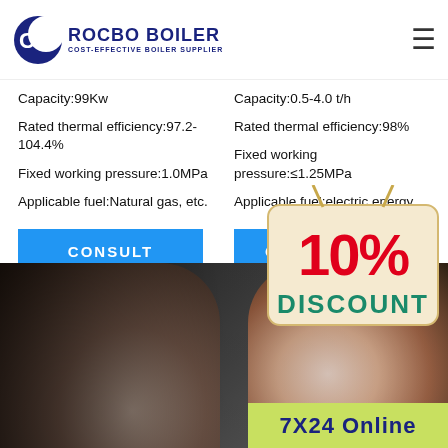[Figure (logo): Rocbo Boiler logo with crescent moon icon and text 'ROCBO BOILER COST-EFFECTIVE BOILER SUPPLIER']
Capacity:99Kw
Rated thermal efficiency:97.2-104.4%
Fixed working pressure:1.0MPa
Applicable fuel:Natural gas, etc.
Capacity:0.5-4.0 t/h
Rated thermal efficiency:98%
Fixed working pressure:≤1.25MPa
Applicable fuel:electric energy
[Figure (infographic): 10% DISCOUNT promotional badge/sign with hanging sign design]
[Figure (photo): Customer service agents with headsets, blurred/bokeh background, with 7X24 Online badge at bottom right]